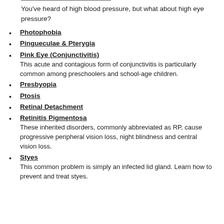You've heard of high blood pressure, but what about high eye pressure?
Photophobia
Pingueculae & Pterygia
Pink Eye (Conjunctivitis)
This acute and contagious form of conjunctivitis is particularly common among preschoolers and school-age children.
Presbyopia
Ptosis
Retinal Detachment
Retinitis Pigmentosa
These inherited disorders, commonly abbreviated as RP, cause progressive peripheral vision loss, night blindness and central vision loss.
Styes
This common problem is simply an infected lid gland. Learn how to prevent and treat styes.